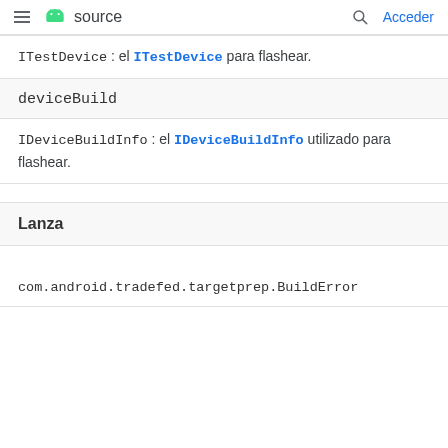≡ source  🔍 Acceder
ITestDevice : el ITestDevice para flashear.
deviceBuild
IDeviceBuildInfo : el IDeviceBuildInfo utilizado para flashear.
Lanza
com.android.tradefed.targetprep.BuildError